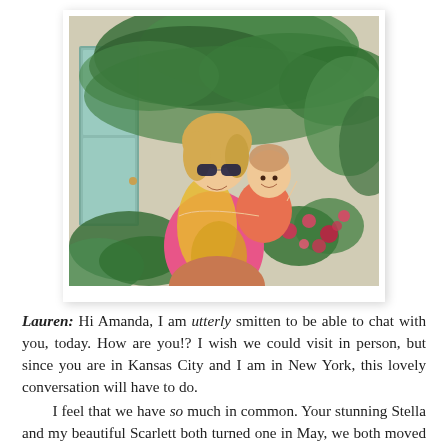[Figure (photo): A woman with sunglasses and a yellow scarf holding a young toddler in a coral/orange outfit, both smiling, in front of a wall covered with green ivy and pink flowers.]
Lauren: Hi Amanda, I am utterly smitten to be able to chat with you, today. How are you!? I wish we could visit in person, but since you are in Kansas City and I am in New York, this lovely conversation will have to do.
    I feel that we have so much in common. Your stunning Stella and my beautiful Scarlett both turned one in May, we both moved from small towns to cities and we both love writing, to name a